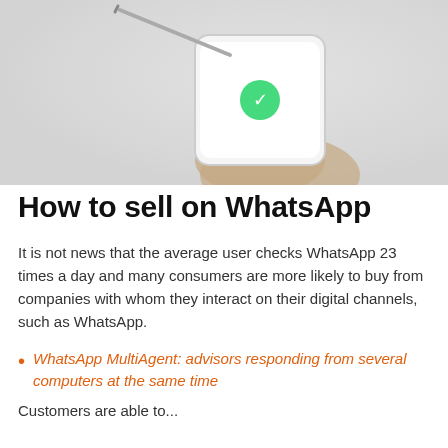[Figure (photo): Person holding a smartphone with a light grey background, shot from above. The phone screen appears white/blank.]
How to sell on WhatsApp
It is not news that the average user checks WhatsApp 23 times a day and many consumers are more likely to buy from companies with whom they interact on their digital channels, such as WhatsApp.
WhatsApp MultiAgent: advisors responding from several computers at the same time
Customers are able to...